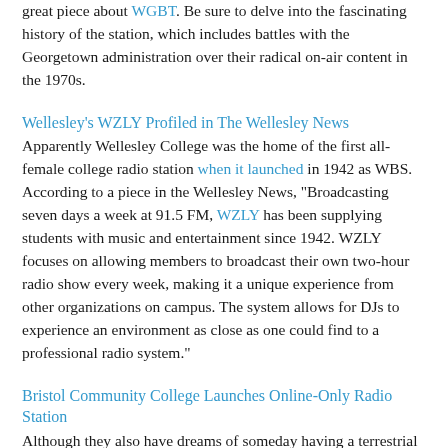great piece about WGBT. Be sure to delve into the fascinating history of the station, which includes battles with the Georgetown administration over their radical on-air content in the 1970s.
Wellesley's WZLY Profiled in The Wellesley News
Apparently Wellesley College was the home of the first all-female college radio station when it launched in 1942 as WBS. According to a piece in the Wellesley News, "Broadcasting seven days a week at 91.5 FM, WZLY has been supplying students with music and entertainment since 1942. WZLY focuses on allowing members to broadcast their own two-hour radio show every week, making it a unique experience from other organizations on campus. The system allows for DJs to experience an environment as close as one could find to a professional radio system."
Bristol Community College Launches Online-Only Radio Station
Although they also have dreams of someday having a terrestrial radio station, for the moment Bristol Community College in Massachusetts is happy to be streaming online as